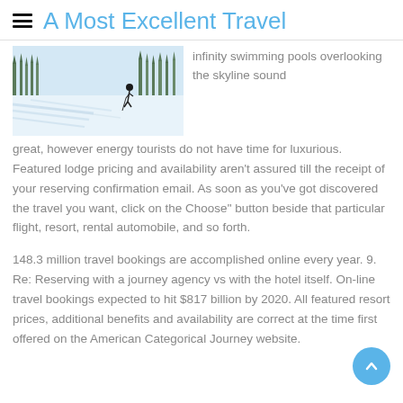A Most Excellent Travel
[Figure (photo): A person skiing on a snowy slope with trees in the background]
infinity swimming pools overlooking the skyline sound great, however energy tourists do not have time for luxurious. Featured lodge pricing and availability aren't assured till the receipt of your reserving confirmation email. As soon as you've got discovered the travel you want, click on the Choose" button beside that particular flight, resort, rental automobile, and so forth.
148.3 million travel bookings are accomplished online every year. 9. Re: Reserving with a journey agency vs with the hotel itself. On-line travel bookings expected to hit $817 billion by 2020. All featured resort prices, additional benefits and availability are correct at the time first offered on the American Categorical Journey website.